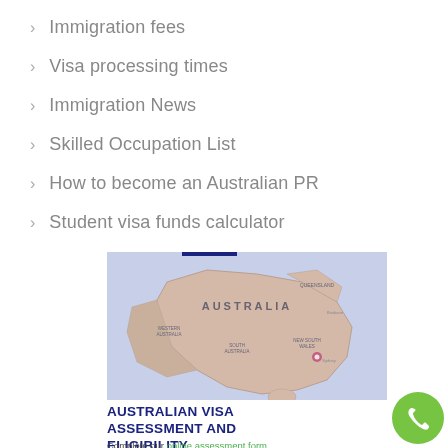Immigration fees
Visa processing times
Immigration News
Skilled Occupation List
How to become an Australian PR
Student visa funds calculator
[Figure (map): Close-up photograph of a physical map of Australia with a pin marking a location near Sydney/Melbourne area. The map shows state names and major cities including Queensland, Australia, South Australia, New South Wales, Brisbane, Sydney. Muted blue and beige tones.]
AUSTRALIAN VISA ASSESSMENT AND ELIGIBILITY
Complete our online assessment form